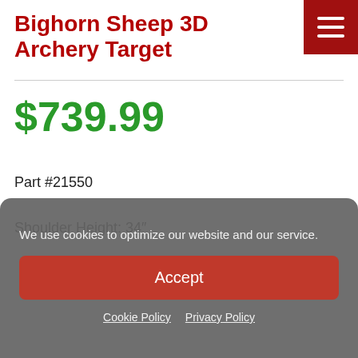Bighorn Sheep 3D Archery Target
$739.99
Part #21550
Shoulder Height: 34″
We use cookies to optimize our website and our service.
Accept
Cookie Policy  Privacy Policy